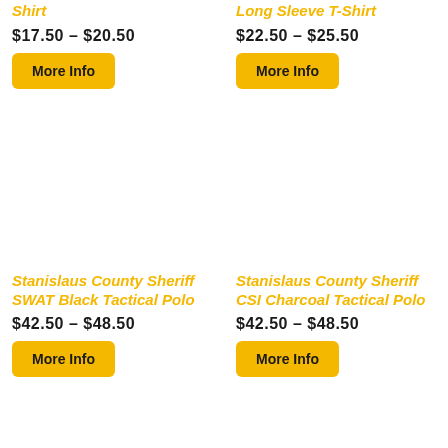Shirt
$17.50 – $20.50
More Info
Long Sleeve T-Shirt
$22.50 – $25.50
More Info
Stanislaus County Sheriff SWAT Black Tactical Polo
$42.50 – $48.50
More Info
Stanislaus County Sheriff CSI Charcoal Tactical Polo
$42.50 – $48.50
More Info